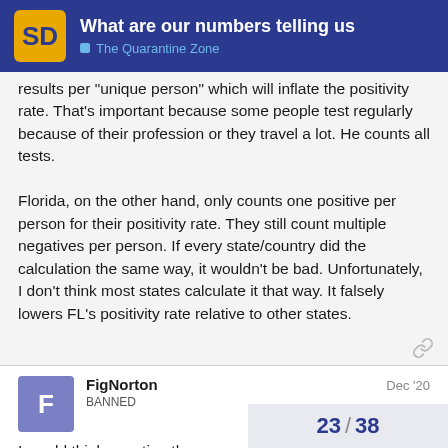What are our numbers telling us | The Quarantine Zone
results per "unique person" which will inflate the positivity rate. That's important because some people test regularly because of their profession or they travel a lot. He counts all tests.
Florida, on the other hand, only counts one positive per person for their positivity rate. They still count multiple negatives per person. If every state/country did the calculation the same way, it wouldn't be bad. Unfortunately, I don't think most states calculate it that way. It falsely lowers FL's positivity rate relative to other states.
FigNorton
BANNED
Dec '20
I would think counting the same person more than once falsely inflates other states' positives.
23 / 38